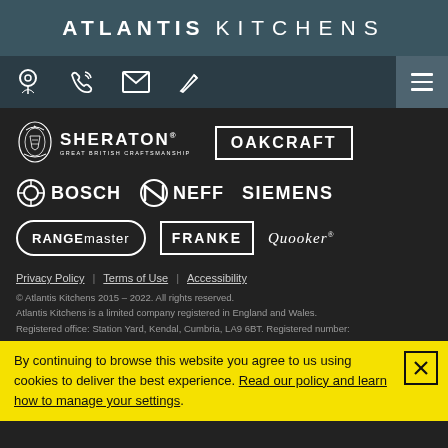ATLANTIS KITCHENS
[Figure (logo): Navigation icons: location pin, phone, email, pencil/edit, hamburger menu]
[Figure (logo): Sheraton Great British Craftsmanship logo and Oakcraft logo]
[Figure (logo): Bosch, Neff, Siemens logos]
[Figure (logo): Rangemaster, Franke, Quooker logos]
Privacy Policy   Terms of Use   Accessibility
© Atlantis Kitchens 2015 – 2022. All rights reserved. Atlantis Kitchens is a limited company registered in England and Wales. Registered office: Station Yard, Kendal, Cumbria, LA9 6BT. Registered number:
By continuing to browse this website you agree to us using cookies to deliver the best experience. Read our policy and learn how to manage your settings.